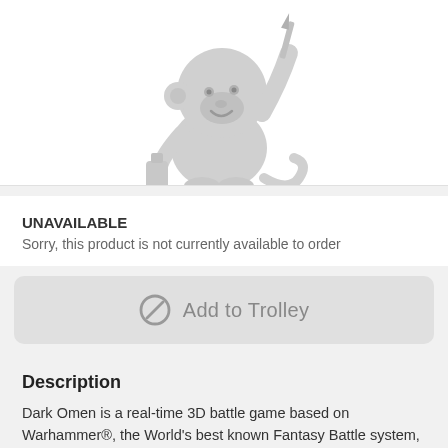[Figure (illustration): A grey cartoon monkey character holding a paintbrush and a paint bottle, partially cropped at the top]
UNAVAILABLE
Sorry, this product is not currently available to order
[Figure (other): Disabled/blocked Add to Trolley button with a no-entry icon]
Description
Dark Omen is a real-time 3D battle game based on Warhammer®, the World's best known Fantasy Battle system, by Games Workshop®.